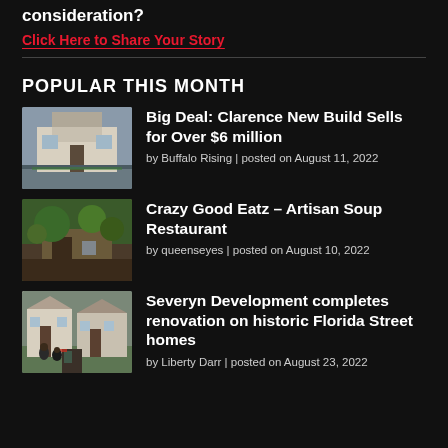consideration?
Click Here to Share Your Story
POPULAR THIS MONTH
[Figure (photo): Photo of a large white house/mansion exterior]
Big Deal: Clarence New Build Sells for Over $6 million
by Buffalo Rising | posted on August 11, 2022
[Figure (photo): Photo of a restaurant exterior with trees and landscaping]
Crazy Good Eatz – Artisan Soup Restaurant
by queenseyes | posted on August 10, 2022
[Figure (photo): Photo of renovated historic homes on Florida Street with two people standing outside]
Severyn Development completes renovation on historic Florida Street homes
by Liberty Darr | posted on August 23, 2022